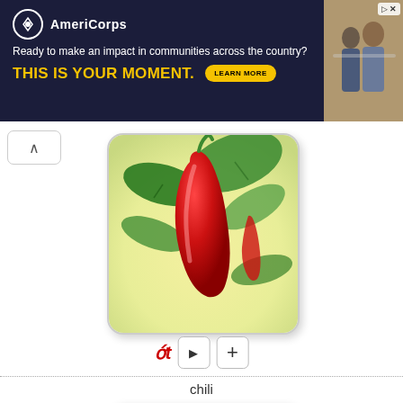[Figure (photo): AmeriCorps advertisement banner: dark navy background with logo, tagline 'Ready to make an impact in communities across the country?', bold yellow text 'THIS IS YOUR MOMENT.', and a 'LEARN MORE' button. Photo of people on right side.]
[Figure (photo): Red chili pepper hanging on a green plant, shown in a rounded card with white background.]
ớt
chili
[Figure (photo): Yellow corn on the cob with green husks, shown in a rounded card.]